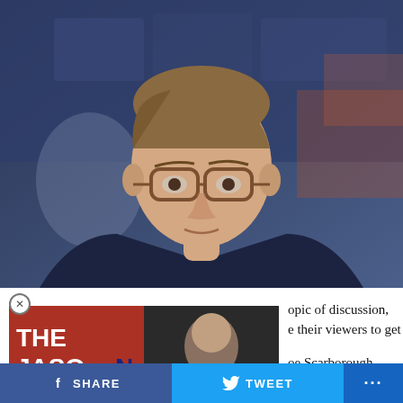[Figure (photo): Man in dark navy suit with striped tie and glasses seated at a desk, TV screens in background, studio setting]
[Figure (screenshot): Ad overlay showing 'The Jason Barrett Podcast' with Jim Rome thumbnail and text 'JIM ROME GOT NEW PLAYBOOK']
opic of discussion, although
e their viewers to get
oe Scarborough wants President Joe Biden to create a policy that requires
Page-footer share bar: SHARE | TWEET | ...